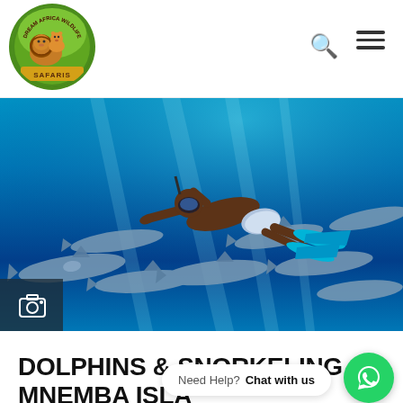[Figure (logo): Dream Africa Wildlife Safaris circular logo with lions and green background, SAFARIS text on golden banner]
[Figure (photo): Underwater photo of a person snorkeling/freediving with a school of dolphins in vivid blue ocean water, wearing blue swim shorts and fins, reaching toward the dolphins. Camera icon overlay in bottom-left corner.]
DOLPHINS & SNORKELING AT MNEMBA ISLA